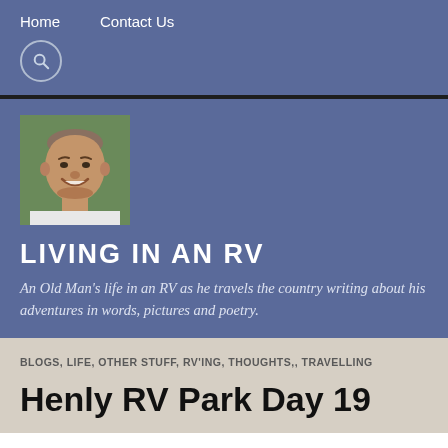Home   Contact Us
[Figure (photo): Profile photo of an older smiling man outdoors with trees in background]
LIVING IN AN RV
An Old Man's life in an RV as he travels the country writing about his adventures in words, pictures and poetry.
BLOGS, LIFE, OTHER STUFF, RV'ING, THOUGHTS,, TRAVELLING
Henly RV Park Day 19